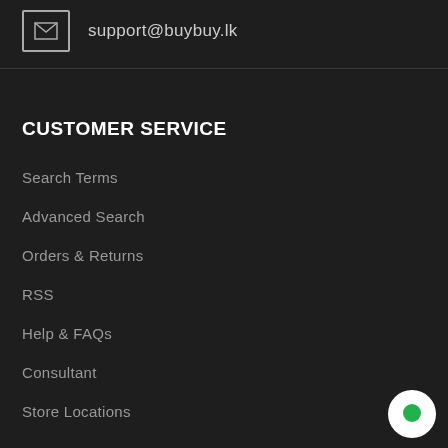support@buybuy.lk
CUSTOMER SERVICE
Search Terms
Advanced Search
Orders & Returns
RSS
Help & FAQs
Consultant
Store Locations